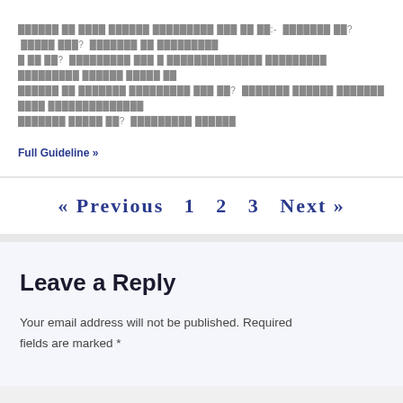██████ ██ ████ ██████ █████████ ███ ██ ██:- ███████ ██? █████ ███? ███████ ██ █████████ █ ██ ██? █████████ ███ █ ██████████████ █████████ █████████ ██████ █████ ██ ██████ ██ ███████ █████████ ███ ██? ███████ ██████ ███████ ████ ██████████████ ███████ █████ ██? █████████ ██████
Full Guideline »
« Previous  1  2  3  Next »
Leave a Reply
Your email address will not be published. Required fields are marked *